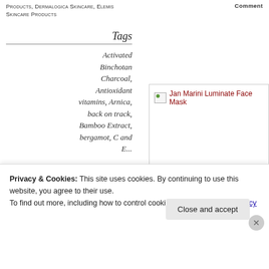Products, Dermalogica Skincare, Elemis Skincare Products   COMMENT
Tags
Activated Binchotan Charcoal, Antioxidant vitamins, Arnica, back on track, Bamboo Extract, bergamot, C and E...
[Figure (photo): Jan Marini Luminate Face Mask product image placeholder]
Privacy & Cookies: This site uses cookies. By continuing to use this website, you agree to their use. To find out more, including how to control cookies, see here: Cookie Policy
Close and accept